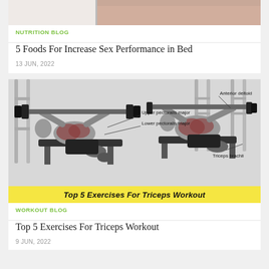[Figure (photo): Partial view of a person's body (skin visible), cropped at top of page]
NUTRITION BLOG
5 Foods For Increase Sex Performance in Bed
13 JUN, 2022
[Figure (illustration): Two anatomical illustrations of a person performing barbell bench press exercises, with labeled muscle groups: Upper pectoralis major, Lower pectoralis major, Anterior deltoid, Triceps brachii. Yellow banner at bottom reads 'Top 5 Exercises For Triceps Workout' in bold italic text.]
WORKOUT BLOG
Top 5 Exercises For Triceps Workout
9 JUN, 2022